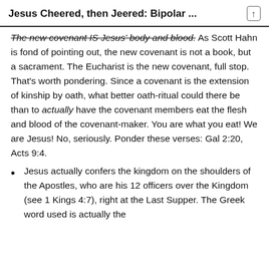Jesus Cheered, then Jeered: Bipolar ...
The new covenant IS Jesus' body and blood. As Scott Hahn is fond of pointing out, the new covenant is not a book, but a sacrament. The Eucharist is the new covenant, full stop. That's worth pondering. Since a covenant is the extension of kinship by oath, what better oath-ritual could there be than to actually have the covenant members eat the flesh and blood of the covenant-maker. You are what you eat! We are Jesus! No, seriously. Ponder these verses: Gal 2:20, Acts 9:4.
Jesus actually confers the kingdom on the shoulders of the Apostles, who are his 12 officers over the Kingdom (see 1 Kings 4:7), right at the Last Supper. The Greek word used is actually the